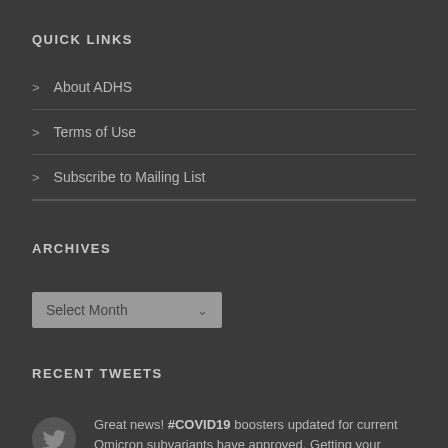QUICK LINKS
> About ADHS
> Terms of Use
> Subscribe to Mailing List
ARCHIVES
Select Month
RECENT TWEETS
Great news! #COVID19 boosters updated for current Omicron subvariants have approved. Getting your vaccine protectio